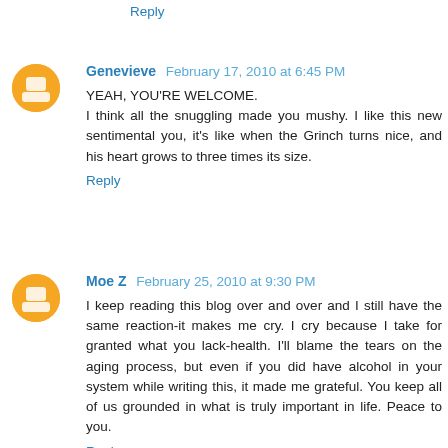Reply
Genevieve  February 17, 2010 at 6:45 PM
YEAH, YOU'RE WELCOME.
I think all the snuggling made you mushy. I like this new sentimental you, it's like when the Grinch turns nice, and his heart grows to three times its size.
Reply
Moe Z  February 25, 2010 at 9:30 PM
I keep reading this blog over and over and I still have the same reaction-it makes me cry. I cry because I take for granted what you lack-health. I'll blame the tears on the aging process, but even if you did have alcohol in your system while writing this, it made me grateful. You keep all of us grounded in what is truly important in life. Peace to you.
Reply